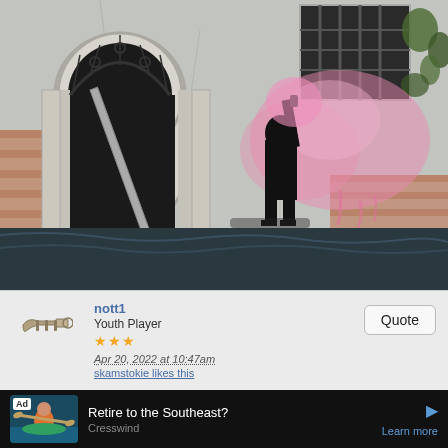[Figure (photo): Banksy mural on a weathered building wall next to a canal in Venice. A small child figure in black and white holds up a pink flare, with pink spray paint spreading outward. The building has an ornate arched doorway on the left and a barred window on the upper right. The scene is photographed from the water.]
nott1
Youth Player
★★★
Apr 20, 2022 at 10:47am
skamstokie likes this
Quote
Ad  Retire to the Southeast?  Cresswind  Learn more